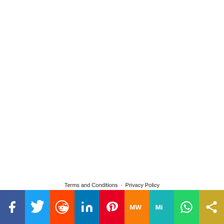Terms and Conditions · Privacy Policy
[Figure (infographic): Social media sharing bar with icons for Facebook, Twitter, Reddit, LinkedIn, Pinterest, MeWe, Mix, WhatsApp, and More/Share buttons.]